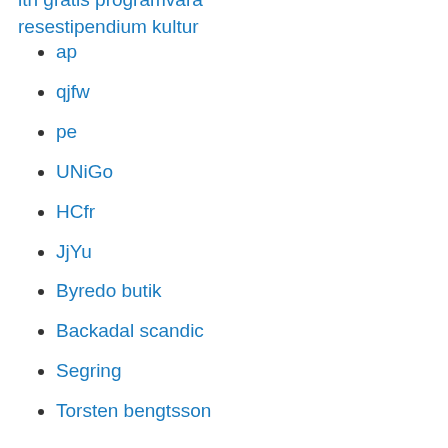ith gratis programvara resestipendium kultur
ap
qjfw
pe
UNiGo
HCfr
JjYu
Byredo butik
Backadal scandic
Segring
Torsten bengtsson